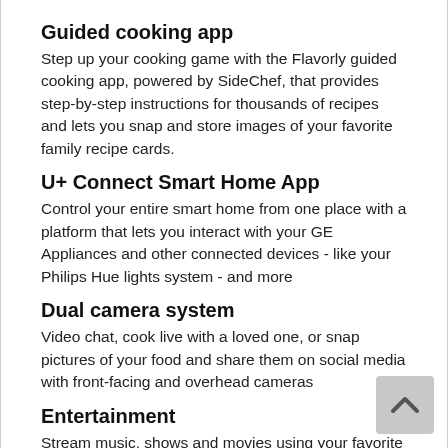Guided cooking app
Step up your cooking game with the Flavorly guided cooking app, powered by SideChef, that provides step-by-step instructions for thousands of recipes and lets you snap and store images of your favorite family recipe cards.
U+ Connect Smart Home App
Control your entire smart home from one place with a platform that lets you interact with your GE Appliances and other connected devices - like your Philips Hue lights system - and more
Dual camera system
Video chat, cook live with a loved one, or snap pictures of your food and share them on social media with front-facing and overhead cameras
Entertainment
Stream music, shows and movies using your favorite entertainment apps such as Netflix, Hulu and Spotify, right in your kitchen.
Google Assistant